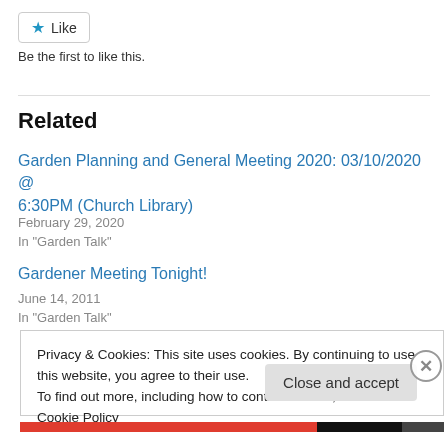[Figure (other): Like button with blue star icon and text 'Like']
Be the first to like this.
Related
Garden Planning and General Meeting 2020: 03/10/2020 @ 6:30PM (Church Library)
February 29, 2020
In "Garden Talk"
Gardener Meeting Tonight!
June 14, 2011
In "Garden Talk"
Privacy & Cookies: This site uses cookies. By continuing to use this website, you agree to their use.
To find out more, including how to control cookies, see here: Cookie Policy
Close and accept